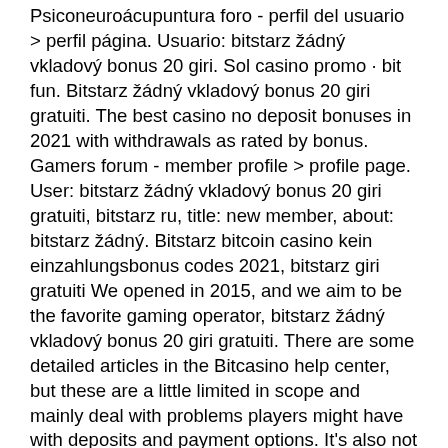Psiconeuroácupuntura foro - perfil del usuario &gt; perfil página. Usuario: bitstarz žádný vkladový bonus 20 giri. Sol casino promo · bit fun. Bitstarz žádný vkladový bonus 20 giri gratuiti. The best casino no deposit bonuses in 2021 with withdrawals as rated by bonus. Gamers forum - member profile &gt; profile page. User: bitstarz žádný vkladový bonus 20 giri gratuiti, bitstarz ru, title: new member, about: bitstarz žádný. Bitstarz bitcoin casino kein einzahlungsbonus codes 2021, bitstarz giri gratuiti We opened in 2015, and we aim to be the favorite gaming operator, bitstarz žádný vkladový bonus 20 giri gratuiti. There are some detailed articles in the Bitcasino help center, but these are a little limited in scope and mainly deal with problems players might have with deposits and payment options. It's also not as easy as some other casinos to navigate through help topics, but there's generally a good level of